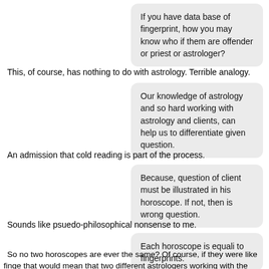If you have data base of fingerprint, how you may know who if them are offender or priest or astrologer?
This, of course, has nothing to do with astrology. Terrible analogy.
Our knowledge of astrology and so hard working with astrology and clients, can help us to differentiate given question.
An admission that cold reading is part of the process.
Because, question of client must be illustrated in his horoscope. If not, then is wrong question.
Sounds like psuedo-philosophical nonsense to me.
Each horoscope is equali to fingerprints.
So no two horoscopes are ever the same? Of course, if they were like finge that would mean that two different astrologers working with the same data w get the same result - just like two forensic scientists working with the same c would get the same fingerprinting results. Right? Astrologers do always agre